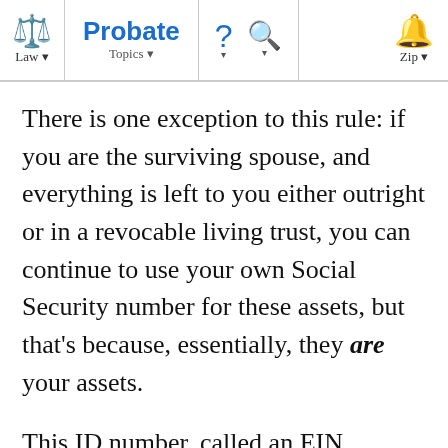Law | Probate | Topics | ? | Q | Zip
There is one exception to this rule: if you are the surviving spouse, and everything is left to you either outright or in a revocable living trust, you can continue to use your own Social Security number for these assets, but that's because, essentially, they are your assets.
This ID number, called an EIN ("employer identification number"), is like a Social Security number for the estate or trust